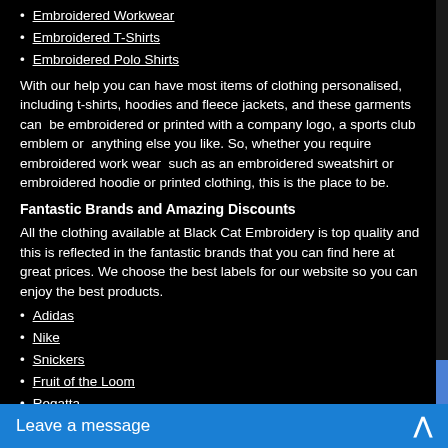Embroidered Workwear
Embroidered T-Shirts
Embroidered Polo Shirts
With our help you can have most items of clothing personalised, including t-shirts, hoodies and fleece jackets, and these garments can be embroidered or printed with a company logo, a sports club emblem or anything else you like. So, whether you require embroidered work wear such as an embroidered sweatshirt or embroidered hoodie or printed clothing, this is the place to be.
Fantastic Brands and Amazing Discounts
All the clothing available at Black Cat Embroidery is top quality and this is reflected in the fantastic brands that you can find here at great prices. We choose the best labels for our website so you can enjoy the best products.
Adidas
Nike
Snickers
Fruit of the Loom
Regatta
Gildan
Kuston Kit
All these brands and fantastic it... shirts and embroidered workwe...